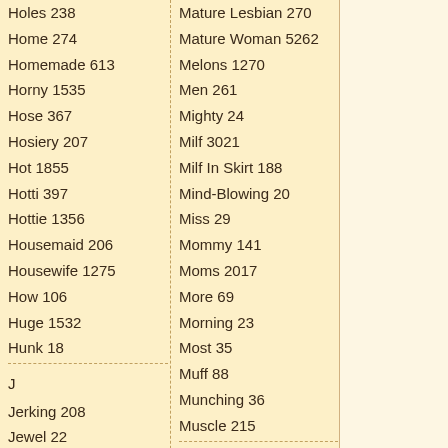Holes 238
Home 274
Homemade 613
Horny 1535
Hose 367
Hosiery 207
Hot 1855
Hotti 397
Hottie 1356
Housemaid 206
Housewife 1275
How 106
Huge 1532
Hunk 18
J
Jerking 208
Jewel 22
Jizz 212
Job 35
Jugs 1333
Juice 208
Mature Lesbian 270
Mature Woman 5262
Melons 1270
Men 261
Mighty 24
Milf 3021
Milf In Skirt 188
Mind-Blowing 20
Miss 29
Mommy 141
Moms 2017
More 69
Morning 23
Most 35
Muff 88
Munching 36
Muscle 215
N
Naked Women 772
Nasty 410
Natasha 2
Natural 1300